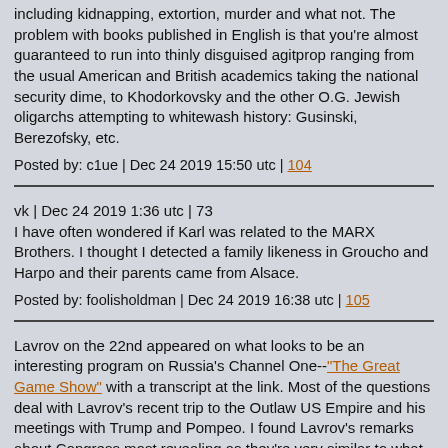including kidnapping, extortion, murder and what not. The problem with books published in English is that you're almost guaranteed to run into thinly disguised agitprop ranging from the usual American and British academics taking the national security dime, to Khodorkovsky and the other O.G. Jewish oligarchs attempting to whitewash history: Gusinski, Berezofsky, etc.
Posted by: c1ue | Dec 24 2019 15:50 utc | 104
vk | Dec 24 2019 1:36 utc | 73
I have often wondered if Karl was related to the MARX Brothers. I thought I detected a family likeness in Groucho and Harpo and their parents came from Alsace.
Posted by: foolisholdman | Dec 24 2019 16:38 utc | 105
Lavrov on the 22nd appeared on what looks to be an interesting program on Russia's Channel One--"The Great Game Show" with a transcript at the link. Most of the questions deal with Lavrov's recent trip to the Outlaw US Empire and his meetings with Trump and Pompeo. I found Lavrov's remarks about Congress most revealing as they're very similar to what he says about the tiny Russophobic nations other NATO nations seem to feel they can't break with the overall consensus despite its being idiotic. His